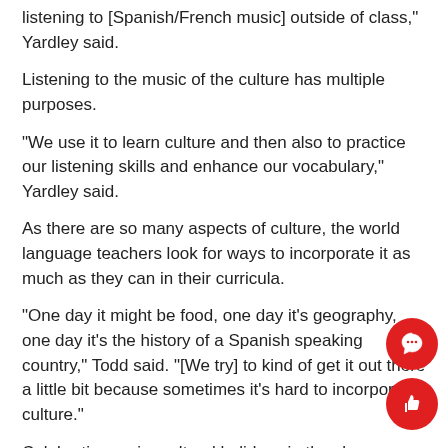listening to [Spanish/French music] outside of class," Yardley said.
Listening to the music of the culture has multiple purposes.
“We use it to learn culture and then also to practice our listening skills and enhance our vocabulary,” Yardley said.
As there are so many aspects of culture, the world language teachers look for ways to incorporate it as much as they can in their curricula.
“One day it might be food, one day it’s geography, one day it’s the history of a Spanish speaking country,” Todd said. “[We try] to kind of get it out there a little bit because sometimes it’s hard to incorporate culture.”
Celebrating major cultural holidays in the classroom gives a glimpse as to how other cultures celebrate their traditions.
For the Chinese New Year, Pomposi discusses the food people e… during that time as well as what the holiday represents to the Ch… people.
[Figure (illustration): Two red circular social media reaction buttons: a speech bubble icon and a thumbs up icon, overlapping in the bottom right corner.]